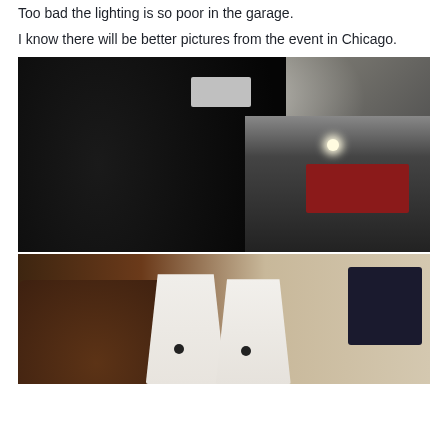Too bad the lighting is so poor in the garage.
I know there will be better pictures from the event in Chicago.
[Figure (photo): Close-up photo of a large dark/black object (possibly a vehicle or large sculpture) in a dimly lit garage. The ceiling is covered with plastic sheeting. A bright fluorescent light is visible, and in the background there are shelves and red toolboxes.]
[Figure (photo): Photo of two white triangular/wedge-shaped devices (possibly speakers or decorative objects) placed on a surface in front of a brown leather couch. A laptop or monitor is visible on the right side.]